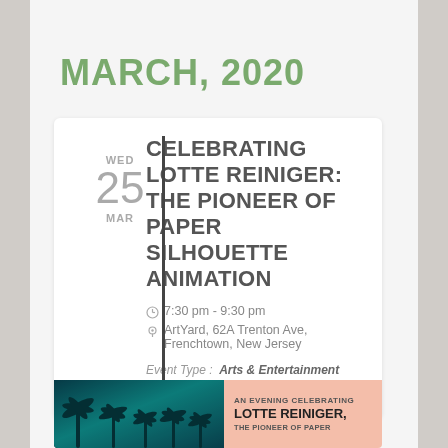MARCH, 2020
WED 25 MAR
CELEBRATING LOTTE REINIGER: THE PIONEER OF PAPER SILHOUETTE ANIMATION
7:30 pm - 9:30 pm
ArtYard, 62A Trenton Ave, Frenchtown, New Jersey
Event Type: Arts & Entertainment
Event Type 2: Frenchtown
[Figure (illustration): Dark tropical palms illustration with teal/cyan tones on dark background, and a salmon/peach colored panel with text AN EVENING CELEBRATING LOTTE REINIGER, THE PIONEER OF PAPER...]